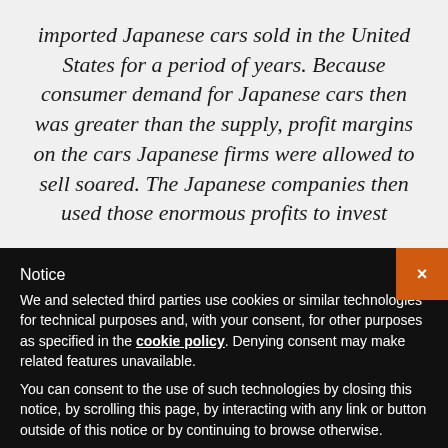imported Japanese cars sold in the United States for a period of years. Because consumer demand for Japanese cars then was greater than the supply, profit margins on the cars Japanese firms were allowed to sell soared. The Japanese companies then used those enormous profits to invest
Notice
We and selected third parties use cookies or similar technologies for technical purposes and, with your consent, for other purposes as specified in the cookie policy. Denying consent may make related features unavailable.
You can consent to the use of such technologies by closing this notice, by scrolling this page, by interacting with any link or button outside of this notice or by continuing to browse otherwise.